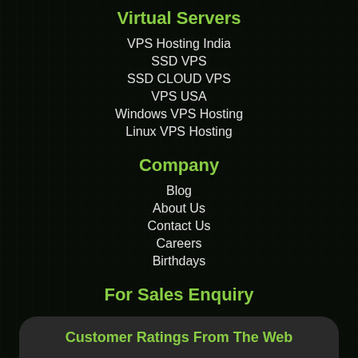Virtual Servers
VPS Hosting India
SSD VPS
SSD CLOUD VPS
VPS USA
Windows VPS Hosting
Linux VPS Hosting
Company
Blog
About Us
Contact Us
Careers
Birthdays
For Sales Enquiry
+91-141-4145454
Customer Ratings From The Web